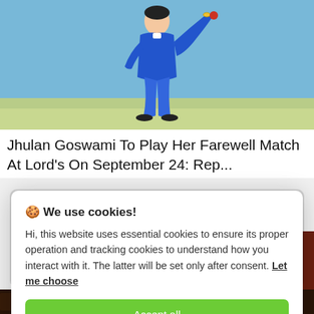[Figure (photo): A cricket player in blue uniform bowling/throwing on a green field background]
Jhulan Goswami To Play Her Farewell Match At Lord's On September 24: Rep...
🍪 We use cookies!
Hi, this website uses essential cookies to ensure its proper operation and tracking cookies to understand how you interact with it. The latter will be set only after consent. Let me choose
Accept all
Reject all